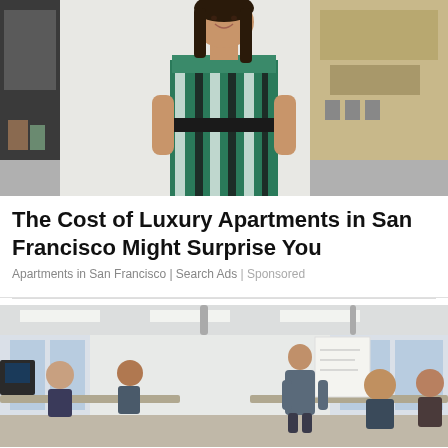[Figure (photo): Woman in green and black striped strapless dress standing in a stylish interior room with shelves and decor.]
The Cost of Luxury Apartments in San Francisco Might Surprise You
Apartments in San Francisco | Search Ads | Sponsored
[Figure (photo): Office meeting room with people seated at desks and a man standing near a whiteboard presenting.]